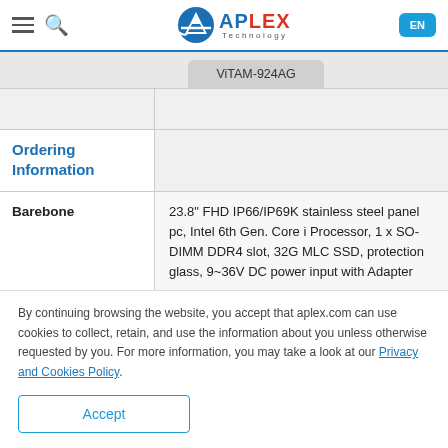APLEX Technology — EN
ViTAM-924AG
|  |  |
| --- | --- |
| Ordering Information |  |
| Barebone | 23.8" FHD IP66/IP69K stainless steel panel pc, Intel 6th Gen. Core i Processor, 1 x SO-DIMM DDR4 slot, 32G MLC SSD, protection glass, 9~36V DC power input with Adapter |
By continuing browsing the website, you accept that aplex.com can use cookies to collect, retain, and use the information about you unless otherwise requested by you. For more information, you may take a look at our Privacy and Cookies Policy.
Accept